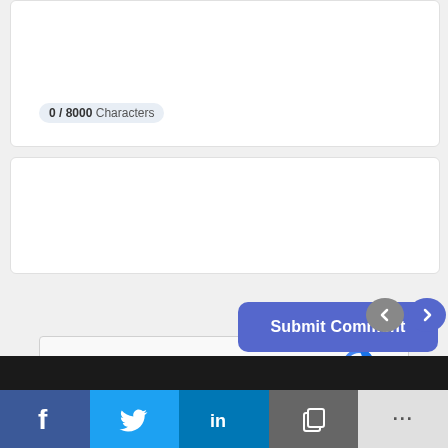0 / 8000 Characters
[Figure (screenshot): reCAPTCHA widget with checkbox and 'I'm not a robot' label, reCAPTCHA logo, Privacy and Terms links]
Submit Comment
[Figure (infographic): Social sharing bar with Facebook (f), Twitter bird, LinkedIn (in), copy, and more (...) buttons; dark background bar above with navigation arrows]